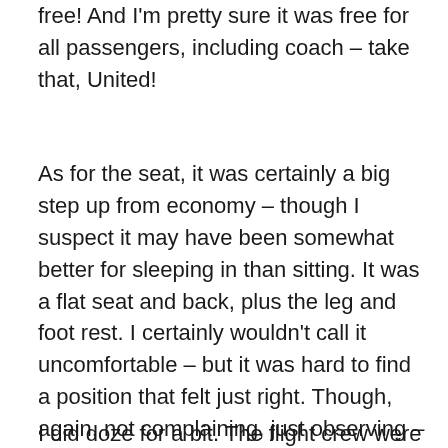free! And I'm pretty sure it was free for all passengers, including coach – take that, United!
As for the seat, it was certainly a big step up from economy – though I suspect it may have been somewhat better for sleeping in than sitting. It was a flat seat and back, plus the leg and foot rest. I certainly wouldn't call it uncomfortable – but it was hard to find a position that felt just right. Though, again, not complaining, just observing – much better than coach, for sure.
I did doze for a bit. The flight crew were